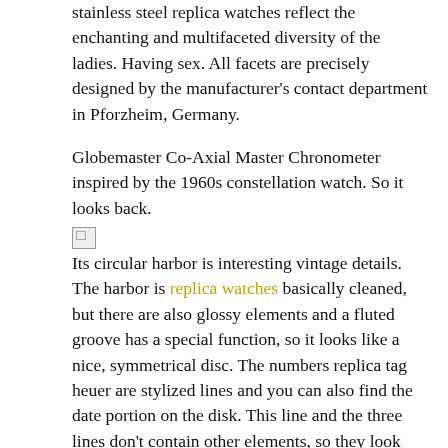stainless steel replica watches reflect the enchanting and multifaceted diversity of the ladies. Having sex. All facets are precisely designed by the manufacturer's contact department in Pforzheim, Germany.
Globemaster Co-Axial Master Chronometer inspired by the 1960s constellation watch. So it looks back.
[Figure (other): Broken image placeholder icon]
Its circular harbor is interesting vintage details. The harbor is replica watches basically cleaned, but there are also glossy elements and a fluted groove has a special function, so it looks like a nice, symmetrical disc. The numbers replica tag heuer are stylized lines and you can also find the date portion on the disk. This line and the three lines don't contain other elements, so they look stylish. Except for the rolex oyster perpetual datejust fake who makes the best high quality replica watches review final details, the replica looks very